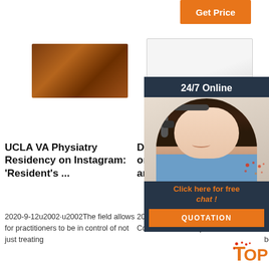[Figure (illustration): Orange 'Get Price' button at top right]
[Figure (photo): Rust/brown textured material product image]
[Figure (photo): White box/container product image]
[Figure (photo): Dark framed product image (partially obscured by overlay)]
[Figure (illustration): 24/7 Online chat overlay panel with customer service agent photo, 'Click here for free chat!' text in orange, and orange QUOTATION button]
UCLA VA Physiatry Residency on Instagram: 'Resident's ...
Dr Raymond C Lee MD on Instagram: 'What an amazing
Institu... Infect... Disea... Mole... Medic...
2020-9-12u2002·u2002The field allows for practitioners to be in control of not just treating
2020-5-23u2002·u20021109 Likes, 2 Comments - Dr Raymond C Lee MD
2 days agou2002·u2002'Schistos... induces plasma cell death in the bone marrow and suppresses the